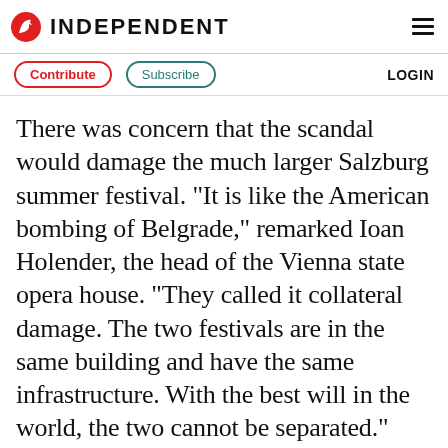INDEPENDENT
There was concern that the scandal would damage the much larger Salzburg summer festival. "It is like the American bombing of Belgrade," remarked Ioan Holender, the head of the Vienna state opera house. "They called it collateral damage. The two festivals are in the same building and have the same infrastructure. With the best will in the world, the two cannot be separated."
More about: Annual Report  Festive Events (Including Carnivals)